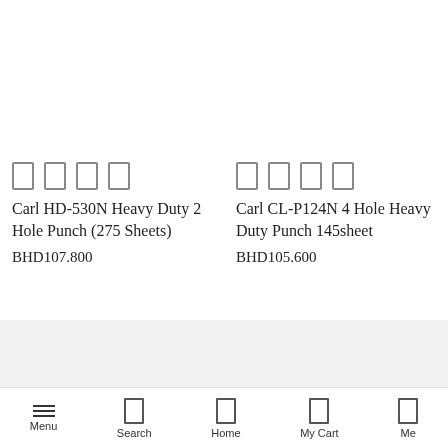[Figure (photo): Product image area for Carl HD-530N Heavy Duty 2 Hole Punch (blank/white)]
[Figure (photo): Product image area for Carl CL-P124N 4 Hole Heavy Duty Punch (blank/white)]
Carl HD-530N Heavy Duty 2 Hole Punch (275 Sheets)
BHD107.800
Carl CL-P124N 4 Hole Heavy Duty Punch 145sheet
BHD105.600
Menu  Search  Home  My Cart  Me